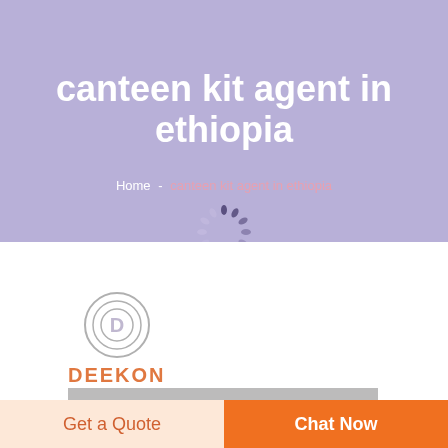canteen kit agent in ethiopia
Home - canteen kit agent in ethiopia
[Figure (logo): DEEKON company logo with circular D icon and orange text]
[Figure (photo): Product image partially visible]
Get a Quote
Chat Now